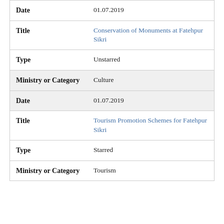| Date | 01.07.2019 |
| Title | Conservation of Monuments at Fatehpur Sikri |
| Type | Unstarred |
| Ministry or Category | Culture |
| Date | 01.07.2019 |
| Title | Tourism Promotion Schemes for Fatehpur Sikri |
| Type | Starred |
| Ministry or Category | Tourism |